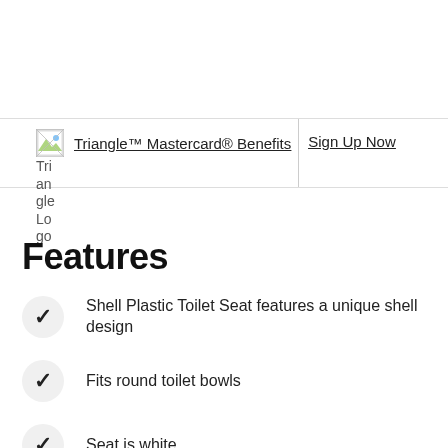[Figure (logo): Triangle Logo image placeholder with broken image icon and alt text 'Triangle Logo']
Triangle™ Mastercard® Benefits
Sign Up Now
Triangle Logo (alt text displayed below icon)
Features
Shell Plastic Toilet Seat features a unique shell design
Fits round toilet bowls
Seat is white